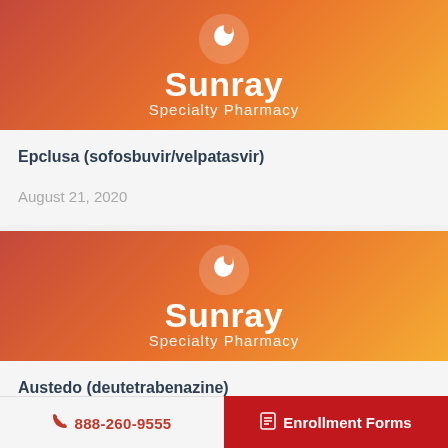[Figure (logo): Sunray Specialty Pharmacy logo on orange-red gradient background with white swoosh icon]
Epclusa (sofosbuvir/velpatasvir)
August 21, 2020
[Figure (logo): Sunray Specialty Pharmacy logo on orange-red gradient background with white swoosh icon]
Austedo (deutetrabenazine)
888-260-9555
Enrollment Forms